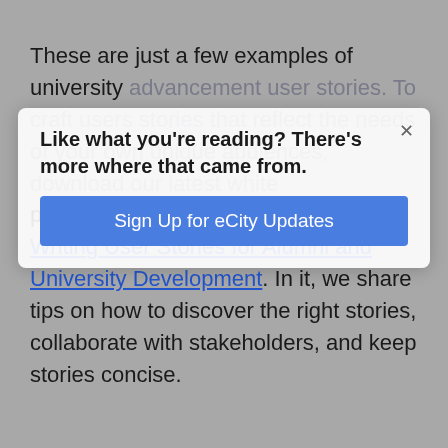These are just a few examples of university advancement user stories. To craft users stories that reflect the needs of your own unique audiences, download our latest white paper – Your Comprehensive Guide to Writing User Stories for Alumni and University Development. In it, we share tips on how to discover the right stories, collaborate with stakeholders, and keep stories concise.
[Figure (screenshot): Modal popup overlay with title 'Like what you're reading? There's more where that came from.' and a blue button 'Sign Up for eCity Updates' with an X close button in the top right corner.]